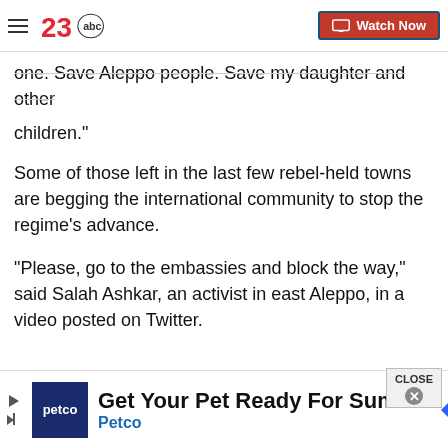23abc — Watch Now
one. Save Aleppo people. Save my daughter and other children."
Some of those left in the last few rebel-held towns are begging the international community to stop the regime's advance.
"Please, go to the embassies and block the way," said Salah Ashkar, an activist in east Aleppo, in a video posted on Twitter.
[Figure (screenshot): Advertisement banner: Petco — Get Your Pet Ready For Summe, with Petco logo and navigation arrow icon]